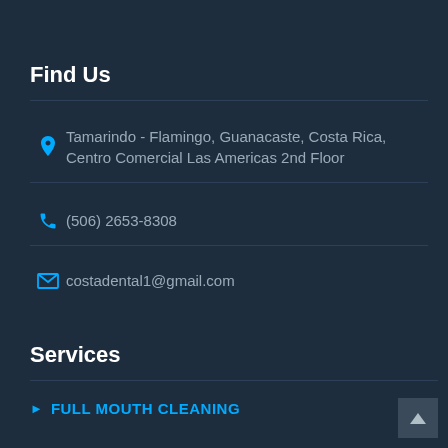Find Us
Tamarindo - Flamingo, Guanacaste, Costa Rica, Centro Comercial Las Americas 2nd Floor
(506) 2653-8308
costadental1@gmail.com
Services
FULL MOUTH CLEANING